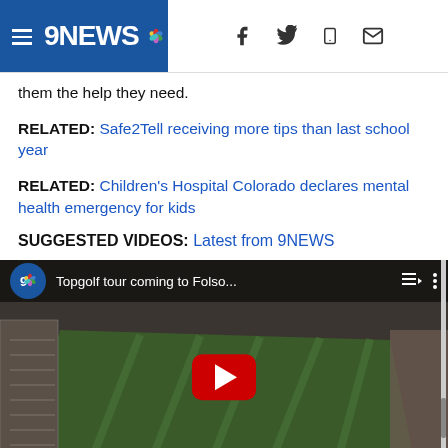9NEWS
them the help they need.
RELATED: Safe2Tell receiving more tips than last school year
RELATED: Children's Hospital Colorado declares mental health emergency for kids
SUGGESTED VIDEOS: Latest from 9NEWS
[Figure (screenshot): YouTube video embed showing aerial view of a golf course, titled 'Topgolf tour coming to Folso...' with 9NEWS branding and a red play button in the center]